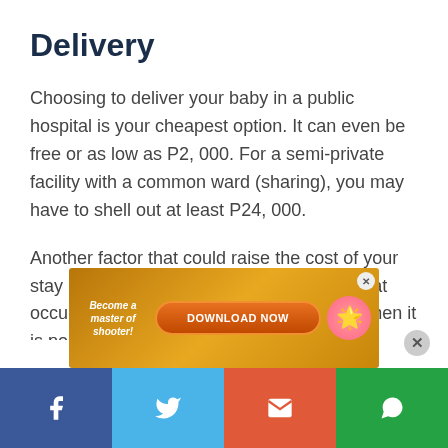Delivery
Choosing to deliver your baby in a public hospital is your cheapest option. It can even be free or as low as P2, 000. For a semi-private facility with a common ward (sharing), you may have to shell out at least P24, 000.
Another factor that could raise the cost of your stay in the hospital is the kind of delivery that occurred. If you and your baby are at risk, then it is possible that you end up going for a C-section, which can be in the rang
[Figure (infographic): Advertisement banner: golden/orange background with 'Become a master of shooter!' text on left, orange 'DOWNLOAD NOW' button in center, pink starfish-like character on right, with close X button]
[Figure (infographic): Social media share bar with four buttons: Facebook (blue), Twitter (light blue), Email (red-orange), WhatsApp (green), each with respective icons]